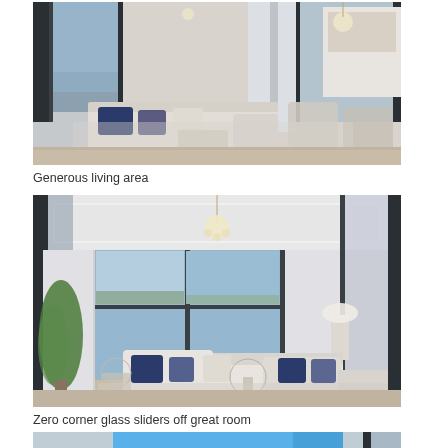[Figure (photo): Interior photo of a generous, open-plan living area with large L-shaped sectional sofa in cream/white fabric with navy blue accent pillows, patterned armchairs, glass coffee table, hardwood floor, large windows with dark frames opening to a balcony view, and a glimpse of a kitchen in the background.]
Generous living area
[Figure (photo): Interior photo of a great room with zero-corner glass sliders, featuring a large white sectional sofa with navy accent pillows, patterned curtains, chandelier, tray ceiling, large corner windows revealing an outdoor/balcony view, and a tropical plant accent.]
Zero corner glass sliders off great room
[Figure (photo): Partial interior photo showing a bright blue water/pool view through glass sliders or windows, with light ceiling visible at top.]